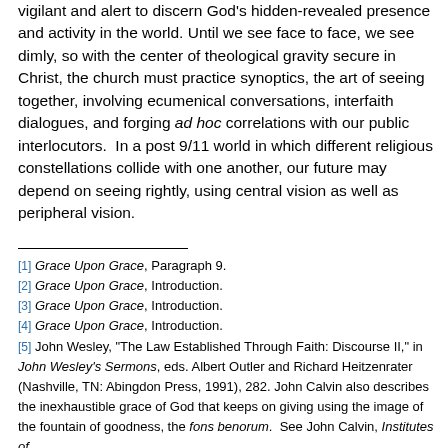vigilant and alert to discern God's hidden-revealed presence and activity in the world. Until we see face to face, we see dimly, so with the center of theological gravity secure in Christ, the church must practice synoptics, the art of seeing together, involving ecumenical conversations, interfaith dialogues, and forging ad hoc correlations with our public interlocutors.  In a post 9/11 world in which different religious constellations collide with one another, our future may depend on seeing rightly, using central vision as well as peripheral vision.
[1] Grace Upon Grace, Paragraph 9.
[2] Grace Upon Grace, Introduction.
[3] Grace Upon Grace, Introduction.
[4] Grace Upon Grace, Introduction.
[5] John Wesley, "The Law Established Through Faith: Discourse II," in John Wesley's Sermons, eds. Albert Outler and Richard Heitzenrater (Nashville, TN: Abingdon Press, 1991), 282. John Calvin also describes the inexhaustible grace of God that keeps on giving using the image of the fountain of goodness, the fons benorum.  See John Calvin, Institutes of